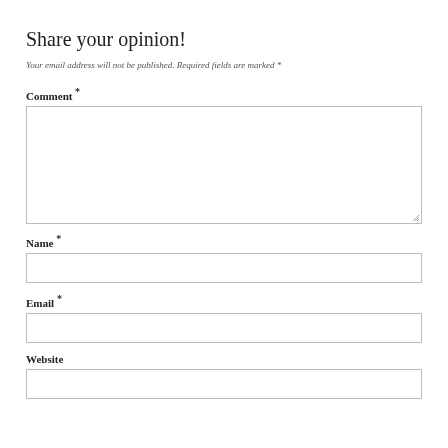Share your opinion!
Your email address will not be published. Required fields are marked *
Comment *
Name *
Email *
Website